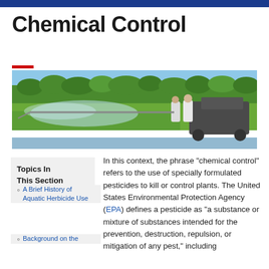Chemical Control
[Figure (photo): Two people in white clothing operating spraying equipment on a watercraft, spraying pesticide mist over aquatic vegetation, with trees in the background and water visible at lower edge.]
Topics In This Section
A Brief History of Aquatic Herbicide Use
Background on the
In this context, the phrase "chemical control" refers to the use of specially formulated pesticides to kill or control plants. The United States Environmental Protection Agency (EPA) defines a pesticide as "a substance or mixture of substances intended for the prevention, destruction, repulsion, or mitigation of any pest," including